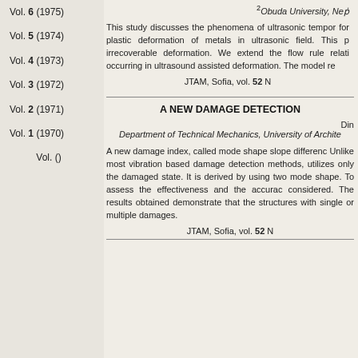Vol. 6 (1975)
Vol. 5 (1974)
Vol. 4 (1973)
Vol. 3 (1972)
Vol. 2 (1971)
Vol. 1 (1970)
Vol. ()
2Obuda University, Nep...
This study discusses the phenomena of ultrasonic tempo... for plastic deformation of metals in ultrasonic field. This p... irrecoverable deformation. We extend the flow rule relati... occurring in ultrasound assisted deformation. The model re...
JTAM, Sofia, vol. 52 ...
A NEW DAMAGE DETECTION...
Din...
Department of Technical Mechanics, University of Archite...
A new damage index, called mode shape slope differenc... Unlike most vibration based damage detection methods, ... utilizes only the damaged state. It is derived by using two ... mode shape. To assess the effectiveness and the accurac... considered. The results obtained demonstrate that the ... structures with single or multiple damages.
JTAM, Sofia, vol. 52 ...